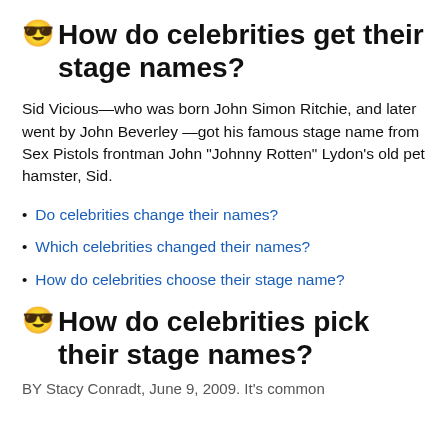😎 How do celebrities get their stage names?
Sid Vicious—who was born John Simon Ritchie, and later went by John Beverley —got his famous stage name from Sex Pistols frontman John "Johnny Rotten" Lydon's old pet hamster, Sid.
Do celebrities change their names?
Which celebrities changed their names?
How do celebrities choose their stage name?
😎 How do celebrities pick their stage names?
BY Stacy Conradt, June 9, 2009. It's common